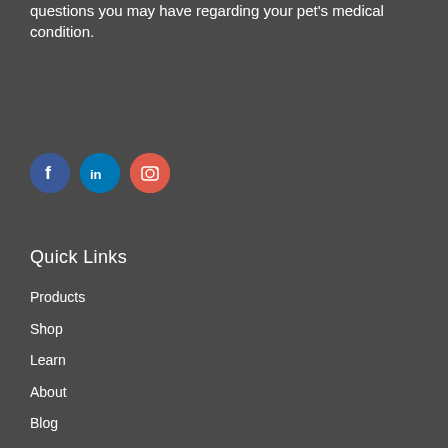questions you may have regarding your pet's medical condition.
[Figure (other): Three social media icon buttons: Facebook (blue circle with f), LinkedIn (blue circle with in), Instagram (coral/red circle with camera icon)]
Quick Links
Products
Shop
Learn
About
Blog
Contact Us